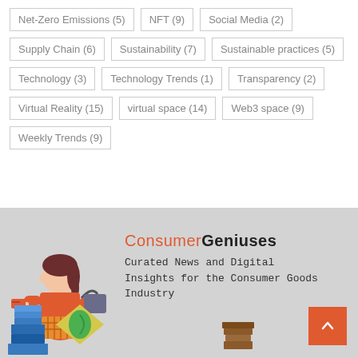Net-Zero Emissions (5)
NFT (9)
Social Media (2)
Supply Chain (6)
Sustainability (7)
Sustainable practices (5)
Technology (3)
Technology Trends (1)
Transparency (2)
Virtual Reality (15)
virtual space (14)
Web3 space (9)
Weekly Trends (9)
[Figure (logo): ConsumerGeniuses logo with illustrated woman shopper carrying basket and credit card, and retail product illustrations at bottom]
ConsumerGeniuses
Curated News and Digital Insights for the Consumer Goods Industry